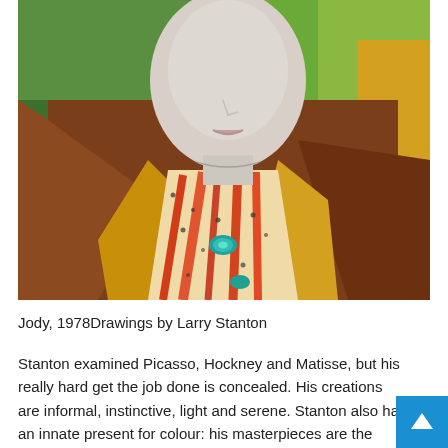[Figure (illustration): A colorful drawing of a person (Jody) wearing a brown jacket with a patterned scarf with red and black marks, a teal brooch, against a green background. The figure's face is pale and partially shown. Artwork by Larry Stanton, 1978.]
Jody, 1978Drawings by Larry Stanton
Stanton examined Picasso, Hockney and Matisse, but his really hard get the job done is concealed. His creations are informal, instinctive, light and serene. Stanton also had an innate present for colour: his masterpieces are the drawings, which